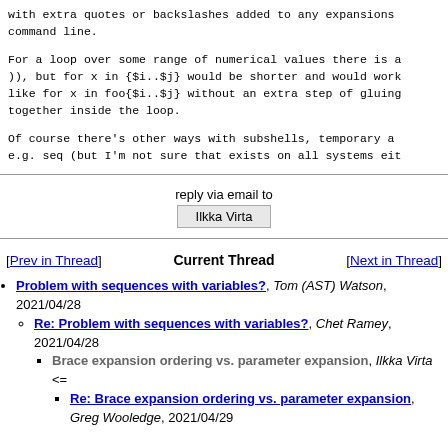with extra quotes or backslashes added to any expansions command line.
For a loop over some range of numerical values there is a )), but for x in {$i..$j} would be shorter and would work like for x in foo{$i..$j} without an extra step of gluing together inside the loop.
Of course there's other ways with subshells, temporary a e.g. seq (but I'm not sure that exists on all systems eit
reply via email to
Ilkka Virta
[Prev in Thread]   Current Thread   [Next in Thread]
Problem with sequences with variables?, Tom (AST) Watson, 2021/04/28
Re: Problem with sequences with variables?, Chet Ramey, 2021/04/28
Brace expansion ordering vs. parameter expansion, Ilkka Virta <=
Re: Brace expansion ordering vs. parameter expansion, Greg Wooledge, 2021/04/29